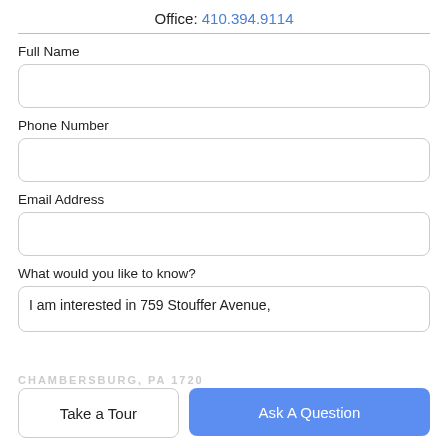Office: 410.394.9114
Full Name
Phone Number
Email Address
What would you like to know?
I am interested in 759 Stouffer Avenue,
CHAMBERSBURG, PA 1720...
Take a Tour
Ask A Question